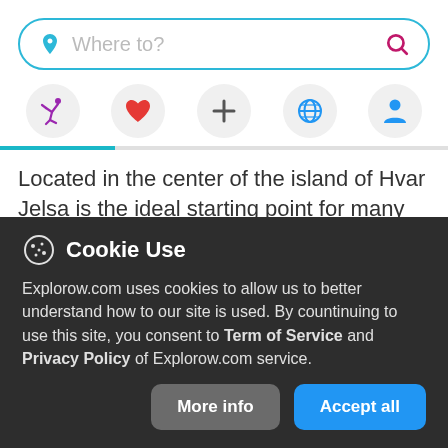[Figure (screenshot): Search bar with location pin icon and search magnifier icon, placeholder text 'Where to?']
[Figure (screenshot): Navigation icon bar with five circular icons: running figure (purple), heart (pink/red), plus (+), globe (blue), person (blue)]
Located in the center of the island of Hvar Jelsa is the ideal starting point for many excursions: Bol is a place on the south shore of the island of Brač situated at the foot of
Cookie Use
Explorow.com uses cookies to allow us to better understand how to our site is used. By countinuing to use this site, you consent to Term of Service and Privacy Policy of Explorow.com service.
More info
Accept all